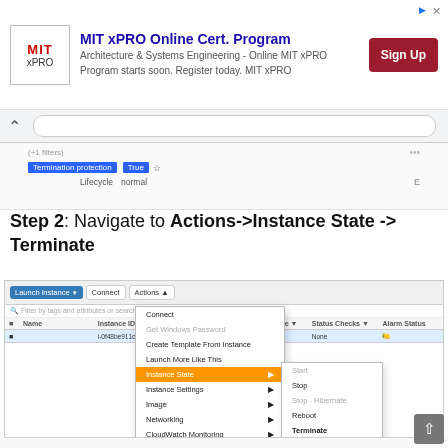[Figure (screenshot): MIT xPRO Online Certificate Program advertisement banner with logo, text, and Sign Up button]
[Figure (screenshot): Browser chrome with back arrow and URL bar]
[Figure (screenshot): Partial EC2 instance details showing Termination protection: True, Lifecycle: normal]
Step 2: Navigate to Actions->Instance State -> Terminate
[Figure (screenshot): AWS EC2 console screenshot showing Actions dropdown menu open with Instance State submenu showing Start, Stop, Stop - Hibernate, Reboot, Terminate options. Terminate is highlighted.]
[Figure (screenshot): Bottom portion of EC2 instance details panel showing Termination protection: True, Lifecycle: normal, Monitoring: false, Alarm status: None, Kernel ID: -, RAM disk ID: -, Root device: /dev/xvda, Block devices: /dev/xvda, Capacity Reservation: -, Capacity Reservation Settings: Open]